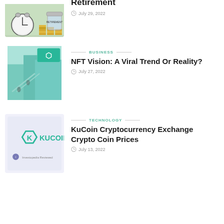[Figure (photo): Clock and stacked coins with retirement jar]
July 29, 2022
BUSINESS
NFT Vision: A Viral Trend Or Reality?
July 27, 2022
[Figure (illustration): KuCoin branded futuristic store illustration]
TECHNOLOGY
KuCoin Cryptocurrency Exchange Crypto Coin Prices
July 13, 2022
[Figure (logo): KuCoin logo with Investopedia Reviewed badge]